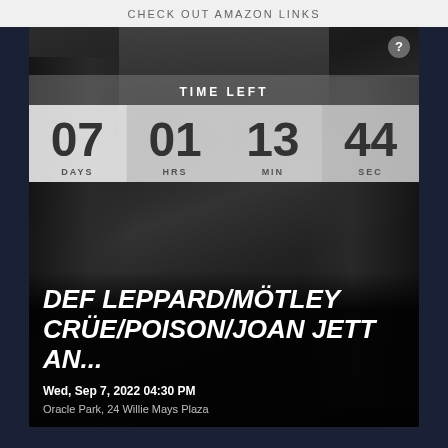CHECK OUT AMAZON LINKS
[Figure (screenshot): Concert event countdown timer showing a photo of band members (Def Leppard/Mötley Crüe/Poison/Joan Jett) in black outfits against a dark background. A countdown timer shows TIME LEFT: 07 DAYS, 01 HRS, 13 MIN, 44 SEC. Below are event details.]
DEF LEPPARD/MÖTLEY CRÜE/POISON/JOAN JETT AN...
Wed, Sep 7, 2022 04:30 PM
Oracle Park, 24 Willie Mays Plaza